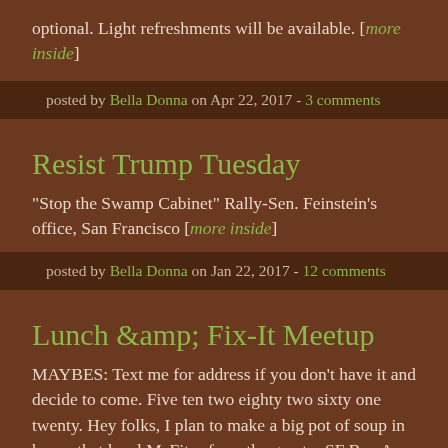optional. Light refreshments will be available. [more inside]
posted by Bella Donna on Apr 22, 2017 - 3 comments
Resist Trump Tuesday
"Stop the Swamp Cabinet" Rally-Sen. Feinstein's office, San Francisco [more inside]
posted by Bella Donna on Jan 22, 2017 - 12 comments
Lunch &amp; Fix-It Meetup
MAYBES: Text me for address if you don't have it and decide to come. Five ten two eighty two sixty one twenty. Hey folks, I plan to make a big pot of soup in hopes that local MeFites from the greater SF Bay Area will show up for a late lunch to converse and, if they like, also do a little sewing (I will be mending a few things) or a little crafting or a little colouring